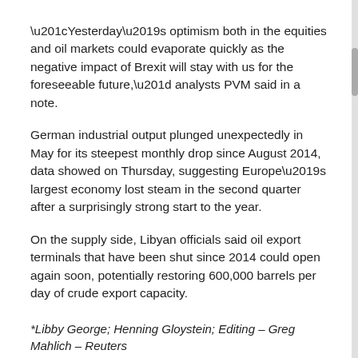“Yesterday’s optimism both in the equities and oil markets could evaporate quickly as the negative impact of Brexit will stay with us for the foreseeable future,” analysts PVM said in a note.
German industrial output plunged unexpectedly in May for its steepest monthly drop since August 2014, data showed on Thursday, suggesting Europe’s largest economy lost steam in the second quarter after a surprisingly strong start to the year.
On the supply side, Libyan officials said oil export terminals that have been shut since 2014 could open again soon, potentially restoring 600,000 barrels per day of crude export capacity.
*Libby George; Henning Gloystein; Editing – Greg Mahlich – Reuters